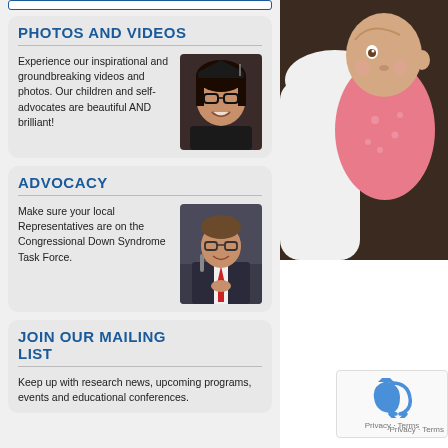PHOTOS AND VIDEOS
Experience our inspirational and groundbreaking videos and photos. Our children and self-advocates are beautiful AND brilliant!
[Figure (photo): Smiling young woman with glasses wearing graduation attire]
ADVOCACY
Make sure your local Representatives are on the Congressional Down Syndrome Task Force.
[Figure (photo): Man in suit with red tie speaking at a microphone]
JOIN OUR MAILING LIST
Keep up with research news, upcoming programs, events and educational conferences.
[Figure (photo): Baby in pink outfit being held by adult in white shirt]
Privacy · Terms